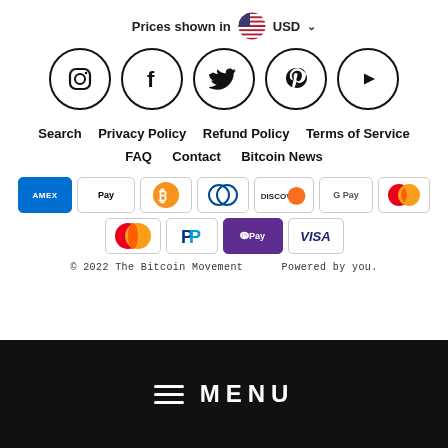Prices shown in USD
[Figure (illustration): Social media icons in circles: Instagram, Facebook, Twitter, Pinterest, YouTube]
Search   Privacy Policy   Refund Policy   Terms of Service
FAQ   Contact   Bitcoin News
[Figure (illustration): Payment method icons: American Express, Apple Pay, Bitcoin, Diners Club, Discover, Google Pay, Mastercard (red/orange), Mastercard, PayPal, OPay, Visa]
© 2022 The Bitcoin Movement      Powered by you.
[Figure (other): Black navigation bar with hamburger menu icon and MENU text in white]